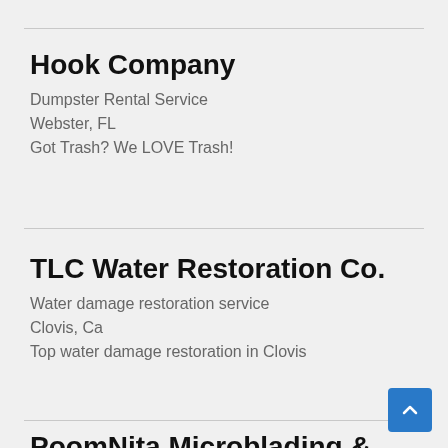Hook Company
Dumpster Rental Service
Webster, FL
Got Trash? We LOVE Trash!
TLC Water Restoration Co.
Water damage restoration service
Clovis, Ca
Top water damage restoration in Clovis
PoomNita Microblading &